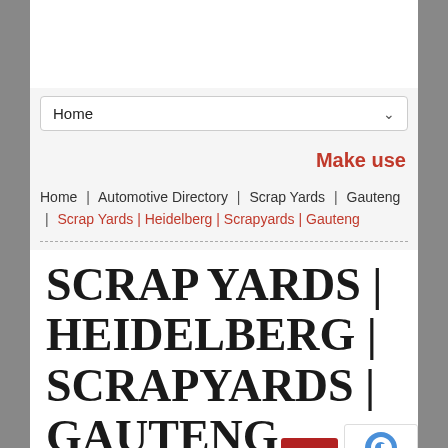Home
Make use
Home | Automotive Directory | Scrap Yards | Gauteng | Scrap Yards | Heidelberg | Scrapyards | Gauteng
SCRAP YARDS | HEIDELBERG | SCRAPYARDS | GAUTENG